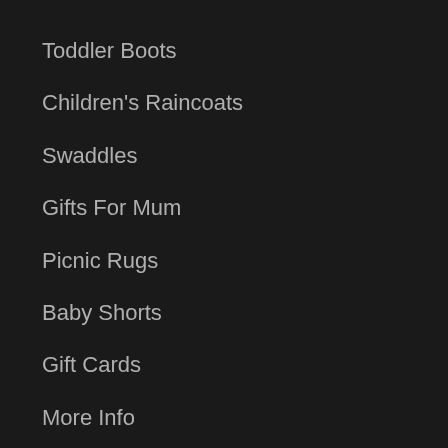Toddler Boots
Children's Raincoats
Swaddles
Gifts For Mum
Picnic Rugs
Baby Shorts
Gift Cards
More Info